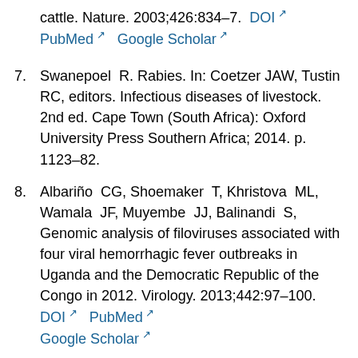cattle. Nature. 2003;426:834–7. DOI PubMed Google Scholar
7. Swanepoel R. Rabies. In: Coetzer JAW, Tustin RC, editors. Infectious diseases of livestock. 2nd ed. Cape Town (South Africa): Oxford University Press Southern Africa; 2014. p. 1123–82.
8. Albariño CG, Shoemaker T, Khristova ML, Wamala JF, Muyembe JJ, Balinandi S, Genomic analysis of filoviruses associated with four viral hemorrhagic fever outbreaks in Uganda and the Democratic Republic of the Congo in 2012. Virology. 2013;442:97–100. DOI PubMed Google Scholar
9. Maganga GD, Bourgarel M, Ella GE, Drexler JF, Gonzalez JP, Drosten C, Is Marburg virus enzootic in Gabon? J Infect Dis. 2011;204(Suppl 3):S800–3. DOI PubMed